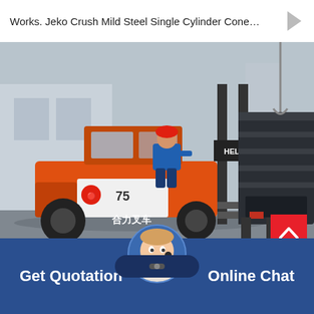Works. Jeko Crush Mild Steel Single Cylinder Cone…
[Figure (photo): Forklift (orange Heli brand, model 75, with Chinese text 合力叉车) operated by worker in blue uniform and red hard hat, moving a large industrial cone crusher machine in a factory/warehouse yard setting]
Sb Cone Crusher For Sale Grinding Mill Chin
Get Quotation
Online Chat